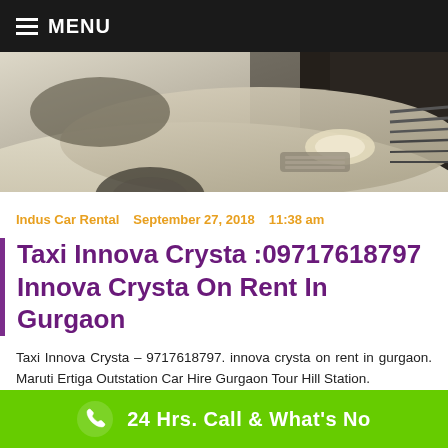MENU
[Figure (photo): Front view of a silver/beige Toyota Innova Crysta car, showing the hood, headlights and front grille against a dark background]
Indus Car Rental   September 27, 2018   11:38 am
Taxi Innova Crysta :09717618797 Innova Crysta On Rent In Gurgaon
Taxi Innova Crysta – 9717618797. innova crysta on rent in gurgaon. Maruti Ertiga Outstation Car Hire Gurgaon Tour Hill Station.
Maruti Suzuki Ertiga Outstation Car Hire Gurgaon Book For Hill Stati...
24 Hrs. Call & What's No